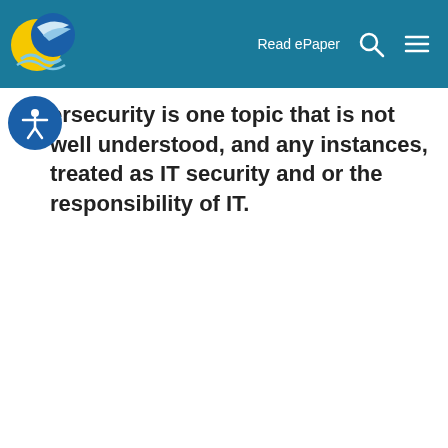Read ePaper
ersecurity is one topic that is not well understood, and any instances, treated as IT security and or the responsibility of IT.